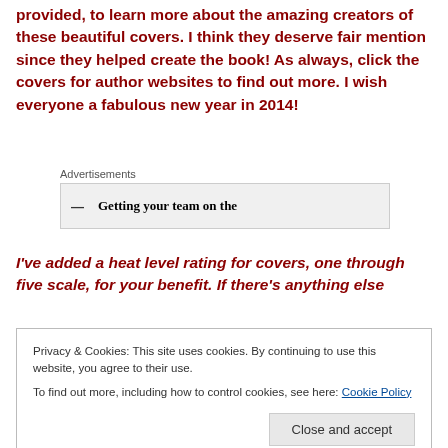provided, to learn more about the amazing creators of these beautiful covers. I think they deserve fair mention since they helped create the book! As always, click the covers for author websites to find out more. I wish everyone a fabulous new year in 2014!
[Figure (other): Advertisements section with a grey box showing partial text 'Getting your team on the']
I've added a heat level rating for covers, one through five scale, for your benefit. If there's anything else
Privacy & Cookies: This site uses cookies. By continuing to use this website, you agree to their use.
To find out more, including how to control cookies, see here: Cookie Policy
Close and accept